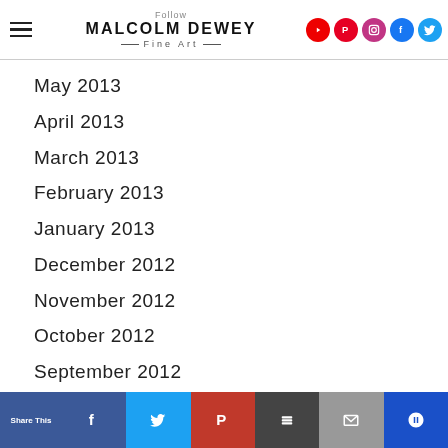Malcolm Dewey Fine Art — Follow
May 2013
April 2013
March 2013
February 2013
January 2013
December 2012
November 2012
October 2012
September 2012
August 2012
July 2012
Share This — Facebook, Twitter, Pinterest, Buffer, Email, Kindle